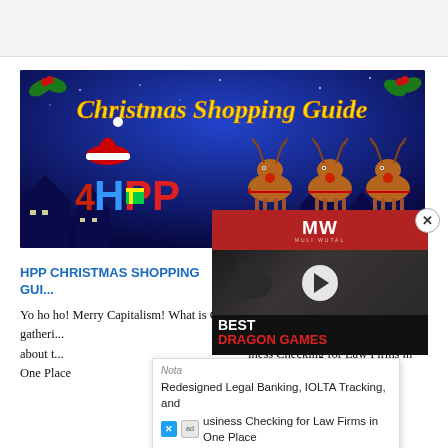[Figure (illustration): Christmas Shopping Guide banner image with HPP logo, three cartoon reindeer, holly decorations, and a snowy night-time town in the background. Golden cursive text reads 'Christmas Shopping Guide'.]
[Figure (screenshot): MW (Muli Wutal?) video player overlay showing a dark image of a wolf/dragon creature with a play button and text 'BEST DRAGON GAMES' in white and red on black background.]
HPP CHRISTMAS SHOPPING GUI...
Yo ho ho! Merry Capitalism! What is Christmas really about? Is it gatheri... is it about t... iness Checking for Law Firms in One Place
Redesigned Legal Banking, IOLTA Tracking, and Business Checking for Law Firms in One Place
Nota